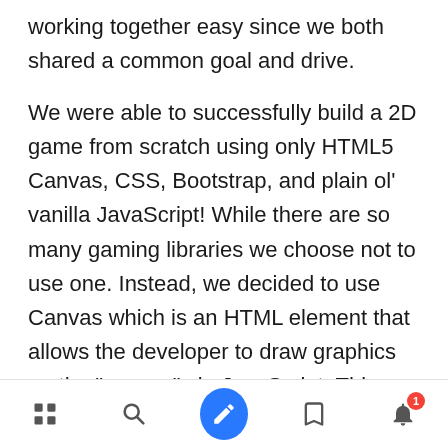working together easy since we both shared a common goal and drive.
We were able to successfully build a 2D game from scratch using only HTML5 Canvas, CSS, Bootstrap, and plain ol' vanilla JavaScript! While there are so many gaming libraries we choose not to use one. Instead, we decided to use Canvas which is an HTML element that allows the developer to draw graphics on the "canvas" via JavaScript. This application allowed us to integrate customized sprites and parallax scrolling backgrounds which brought our animation to life
[navigation bar with icons: list, search, edit (FAB), bookmark, notification]